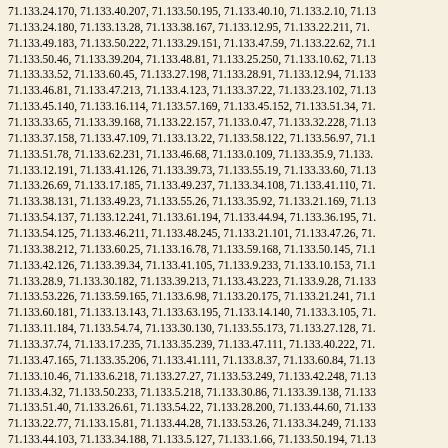71.133.24.170, 71.133.40.207, 71.133.50.195, 71.133.40.10, 71.133.2.10, 71.13... 71.133.24.180, 71.133.13.28, 71.133.38.167, 71.133.12.95, 71.133.22.211, 71.... 71.133.49.183, 71.133.50.222, 71.133.29.151, 71.133.47.59, 71.133.22.62, 71.1... 71.133.50.46, 71.133.39.204, 71.133.48.81, 71.133.25.250, 71.133.10.62, 71.13... 71.133.33.52, 71.133.60.45, 71.133.27.198, 71.133.28.91, 71.133.12.94, 71.133... 71.133.46.81, 71.133.47.213, 71.133.4.123, 71.133.37.22, 71.133.23.102, 71.13... 71.133.45.140, 71.133.16.114, 71.133.57.169, 71.133.45.152, 71.133.51.34, 71.... 71.133.33.65, 71.133.39.168, 71.133.22.157, 71.133.0.47, 71.133.32.228, 71.13... 71.133.37.158, 71.133.47.109, 71.133.13.22, 71.133.58.122, 71.133.56.97, 71.1... 71.133.51.78, 71.133.62.231, 71.133.46.68, 71.133.0.109, 71.133.35.9, 71.133.... 71.133.12.191, 71.133.41.126, 71.133.39.73, 71.133.55.19, 71.133.33.60, 71.13... 71.133.26.69, 71.133.17.185, 71.133.49.237, 71.133.34.108, 71.133.41.110, 71.... 71.133.38.131, 71.133.49.23, 71.133.55.26, 71.133.35.92, 71.133.21.169, 71.13... 71.133.54.137, 71.133.12.241, 71.133.61.194, 71.133.44.94, 71.133.36.195, 71.... 71.133.54.125, 71.133.46.211, 71.133.48.245, 71.133.21.101, 71.133.47.26, 71.... 71.133.38.212, 71.133.60.25, 71.133.16.78, 71.133.59.168, 71.133.50.145, 71.1... 71.133.42.126, 71.133.39.34, 71.133.41.105, 71.133.9.233, 71.133.10.153, 71.1... 71.133.28.9, 71.133.30.182, 71.133.39.213, 71.133.43.223, 71.133.9.28, 71.133... 71.133.53.226, 71.133.59.165, 71.133.6.98, 71.133.20.175, 71.133.21.241, 71.1... 71.133.60.181, 71.133.13.143, 71.133.63.195, 71.133.14.140, 71.133.3.105, 71.... 71.133.11.184, 71.133.54.74, 71.133.30.130, 71.133.55.173, 71.133.27.128, 71.... 71.133.37.74, 71.133.17.235, 71.133.35.239, 71.133.47.111, 71.133.40.222, 71.... 71.133.47.165, 71.133.35.206, 71.133.41.111, 71.133.8.37, 71.133.60.84, 71.13... 71.133.10.46, 71.133.6.218, 71.133.27.27, 71.133.53.249, 71.133.42.248, 71.13... 71.133.4.32, 71.133.50.233, 71.133.5.218, 71.133.30.86, 71.133.39.138, 71.133... 71.133.51.40, 71.133.26.61, 71.133.54.22, 71.133.28.200, 71.133.44.60, 71.133... 71.133.22.77, 71.133.15.81, 71.133.44.28, 71.133.53.26, 71.133.34.249, 71.133... 71.133.44.103, 71.133.34.188, 71.133.5.127, 71.133.1.66, 71.133.50.194, 71.13... 71.133.20.152, 71.133.55.169, 71.133.33.99, 71.133.55.38, 71.133.3.62, 71.133... 71.133.58.135, 71.133.3.225, 71.133.23.125, 71.133.45.249, 71.133.20.200, 71.... 71.133.15.253, 71.133.3.74, 71.133.4.245, 71.133.25.183, 71.133.46.69, 71.133... 71.133.54.101, 71.133.47.135, 71.133.51.19, 71.133.15.226, 71.133.29.110, 71.... 71.133.49.12, 71.133.0.159, 71.133.40.75, 71.133.29.117, 71.133.40.69, 71...